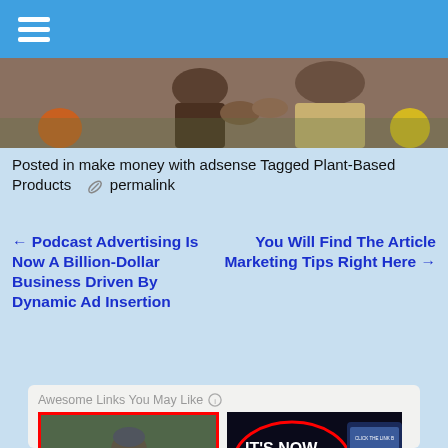☰
[Figure (photo): Close-up image of two people's hands/torsos outdoors]
Posted in make money with adsense Tagged Plant-Based Products  ✏ permalink
← Podcast Advertising Is Now A Billion-Dollar Business Driven By Dynamic Ad Insertion   You Will Find The Article Marketing Tips Right Here →
Awesome Links You May Like ℹ
[Figure (photo): Person sitting outdoors, hunched over, wearing a winter hat, with a red border]
[Figure (photo): Marketing ad image with 'IT'S NOW OR NEVER!' text and 'Learn How We Generate Full Time Incomes From Home' on dark background]